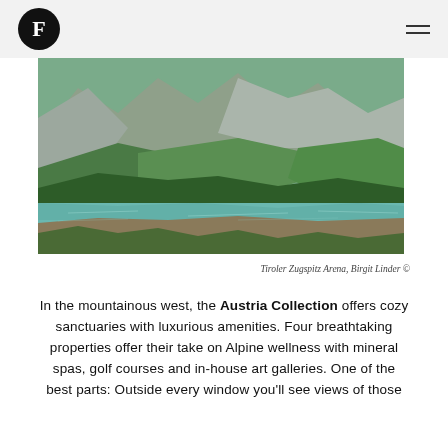F (logo)
[Figure (photo): Alpine mountain lake with turquoise water, surrounded by steep green forested slopes and rocky peaks – Tiroler Zugspitz Arena]
Tiroler Zugspitz Arena, Birgit Linder ©
In the mountainous west, the Austria Collection offers cozy sanctuaries with luxurious amenities. Four breathtaking properties offer their take on Alpine wellness with mineral spas, golf courses and in-house art galleries. One of the best parts: Outside every window you'll see views of those